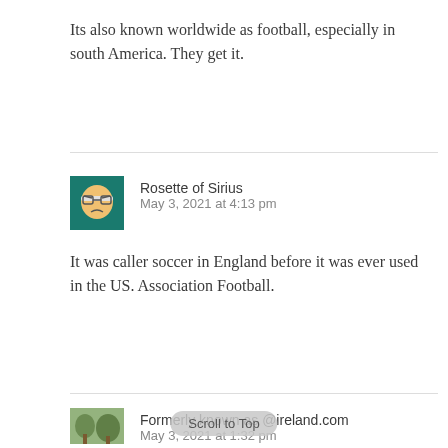Its also known worldwide as football, especially in south America. They get it.
Rosette of Sirius
May 3, 2021 at 4:13 pm
It was caller soccer in England before it was ever used in the US. Association Football.
Formerly known as @ireland.com
May 3, 2021 at 1:32 pm